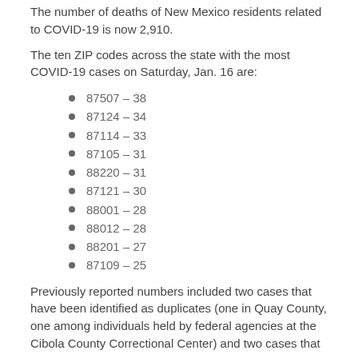The number of deaths of New Mexico residents related to COVID-19 is now 2,910.
The ten ZIP codes across the state with the most COVID-19 cases on Saturday, Jan. 16 are:
87507 – 38
87124 – 34
87114 – 33
87105 – 31
88220 – 31
87121 – 30
88001 – 28
88012 – 28
88201 – 27
87109 – 25
Previously reported numbers included two cases that have been identified as duplicates (one in Quay County, one among individuals held by federal agencies at the Cibola County Correctional Center) and two cases that were attributed to individuals in Quay County.